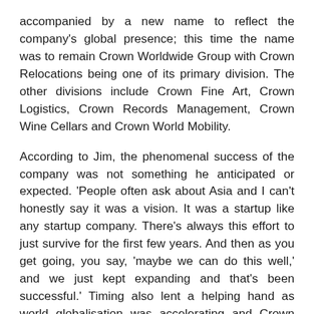accompanied by a new name to reflect the company's global presence; this time the name was to remain Crown Worldwide Group with Crown Relocations being one of its primary division. The other divisions include Crown Fine Art, Crown Logistics, Crown Records Management, Crown Wine Cellars and Crown World Mobility.
According to Jim, the phenomenal success of the company was not something he anticipated or expected. 'People often ask about Asia and I can't honestly say it was a vision. It was a startup like any startup company. There's always this effort to just survive for the first few years. And then as you get going, you say, 'maybe we can do this well,' and we just kept expanding and that's been successful.' Timing also lent a helping hand as world globalisation was accelerating and Crown and its divisions were there to serve the mobile and logistic requirements.
'That was our constant effort, to convince people that we are